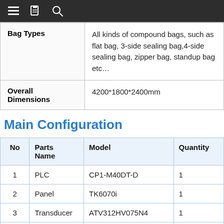Navigation bar with menu, document, and search icons
|  |  |
| --- | --- |
| Bag Types | All kinds of compound bags, such as flat bag, 3-side sealing bag,4-side sealing bag, zipper bag, standup bag etc… |
| Overall Dimensions | 4200*1800*2400mm |
Main Configuration
| No | Parts Name | Model | Quantity |
| --- | --- | --- | --- |
| 1 | PLC | CP1-M40DT-D | 1 |
| 2 | Panel | TK6070i | 1 |
| 3 | Transducer | ATV312HV075N4 | 1 |
| 4 | Vacuum Pump | KRX5-P-V-03 | 1 |